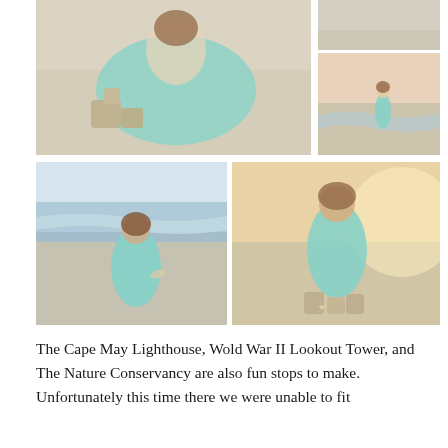[Figure (photo): Child in a teal/turquoise dress kneeling on sandy beach building sandcastles, golden light]
[Figure (photo): Top portion of a beach scene, partial view]
[Figure (photo): Young girl in teal dress walking toward ocean waves at sunset on beach]
[Figure (photo): Young girl in teal dress standing at the shoreline from behind, waves coming in]
[Figure (photo): Young girl in teal dress standing on beach smiling, sandcastles and starfish in front of her]
The Cape May Lighthouse, Wold War II Lookout Tower, and The Nature Conservancy are also fun stops to make. Unfortunately this time there we were unable to fit